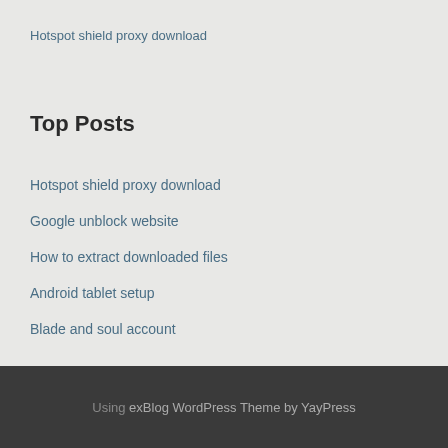Hotspot shield proxy download
Top Posts
Hotspot shield proxy download
Google unblock website
How to extract downloaded files
Android tablet setup
Blade and soul account
Using exBlog WordPress Theme by YayPress